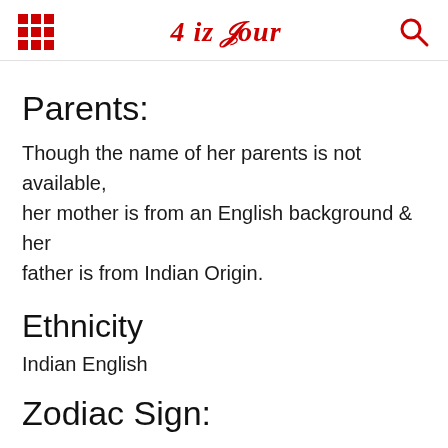4 iz Four
Parents:
Though the name of her parents is not available, her mother is from an English background & her father is from Indian Origin.
Ethnicity
Indian English
Zodiac Sign: